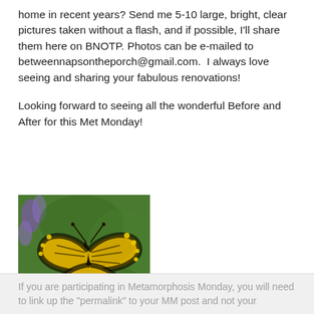home in recent years? Send me 5-10 large, bright, clear pictures taken without a flash, and if possible, I'll share them here on BNOTP. Photos can be e-mailed to betweennapsontheporch@gmail.com.  I always love seeing and sharing your fabulous renovations!
Looking forward to seeing all the wonderful Before and After for this Met Monday!
[Figure (photo): A yellow and black swallowtail butterfly perched on red flowers against a green background. Text overlay reads 'Metamorphosis Monday.']
If you are participating in Metamorphosis Monday, you will need to link up the "permalink" to your MM post and not your